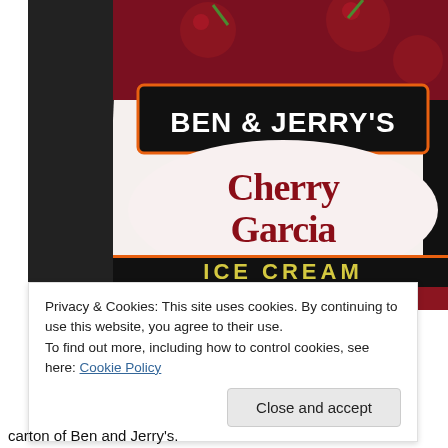[Figure (photo): Close-up photograph of a Ben & Jerry's Cherry Garcia Ice Cream carton. The label shows 'BEN & JERRY'S' in white text on a black banner with orange border, 'Vermont's Finest. All Natural.' text below, large 'Cherry Garcia' in red cursive lettering on a white/pink background with cherries, a black band with 'ICE CREAM' in yellow letters, and smaller red text reading 'Cherry Ice Cream with Cherries & Fudge Flakes'. The carton is photographed against a dark background with a wooden surface visible at the bottom.]
Privacy & Cookies: This site uses cookies. By continuing to use this website, you agree to their use.
To find out more, including how to control cookies, see here: Cookie Policy
Close and accept
carton of Ben and Jerry's.